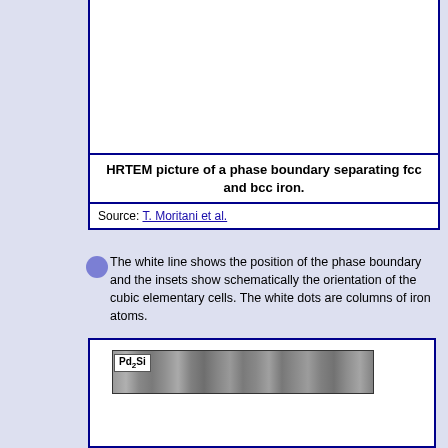[Figure (photo): HRTEM microscopy image of a phase boundary separating fcc and bcc iron — upper image box (content cropped at top of page)]
HRTEM picture of a phase boundary separating fcc and bcc iron.
Source: T. Moritani et al.
The white line shows the position of the phase boundary and the insets show schematically the orientation of the cubic elementary cells. The white dots are columns of iron atoms.
[Figure (photo): HRTEM image strip showing Pd2Si label with electron microscopy texture pattern of atomic columns]